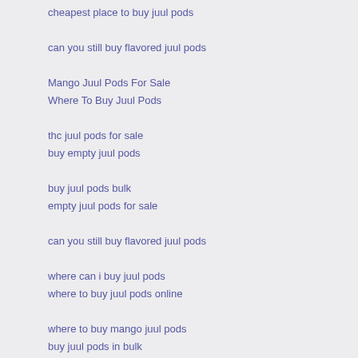cheapest place to buy juul pods
can you still buy flavored juul pods
Mango Juul Pods For Sale
Where To Buy Juul Pods
thc juul pods for sale
buy empty juul pods
buy juul pods bulk
empty juul pods for sale
can you still buy flavored juul pods
where can i buy juul pods
where to buy juul pods online
where to buy mango juul pods
buy juul pods in bulk
where to buy mango juul pods